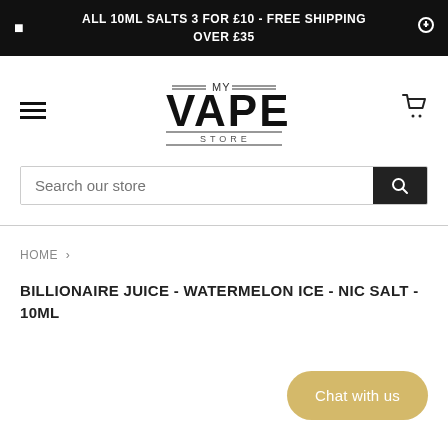ALL 10ML SALTS 3 FOR £10 - FREE SHIPPING OVER £35
[Figure (logo): MY VAPE STORE logo with horizontal lines above and below text]
Search our store
HOME
BILLIONAIRE JUICE - WATERMELON ICE - NIC SALT - 10ML
Chat with us